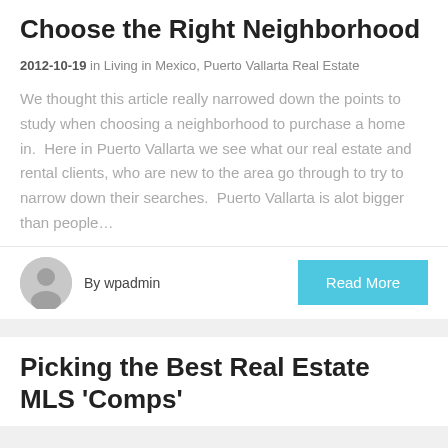Choose the Right Neighborhood
2012-10-19 in Living in Mexico, Puerto Vallarta Real Estate
We thought this article really narrowed down the points to study when choosing a neighborhood to purchase a home in.  Here in Puerto Vallarta we see what our real estate and rental clients, who are new to the area go through to try to narrow down their searches.  Puerto Vallarta is alot bigger than people…
By wpadmin
Read More
Picking the Best Real Estate MLS 'Comps'